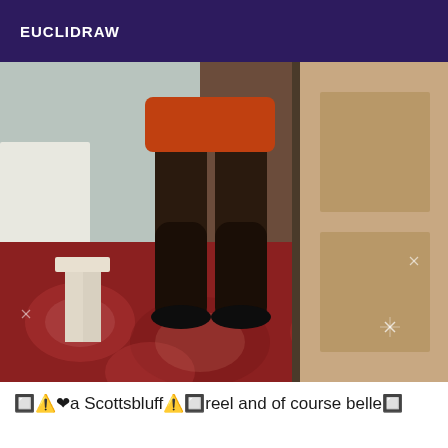EUCLIDRAW
[Figure (photo): A person standing in a room, showing legs in dark stockings with a patterned rug on the floor and a door/wall visible to the right. The image is taken in a mirror or reflective surface.]
🔲🔺❤a Scottsbluff🔺🔲reel and of course belle🔲